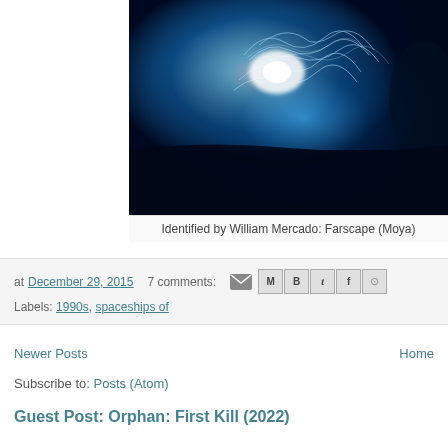[Figure (photo): Dark sci-fi image with glowing blue electric/plasma light effects, appearing to show a spacecraft or creature — Farscape Moya]
Identified by William Mercado: Farscape (Moya)
at December 29, 2015   7 comments:
Labels: 1990s, spaceships of
Newer Posts
Home
Subscribe to: Posts (Atom)
Guest Post: Orphan: First Kill (2022)